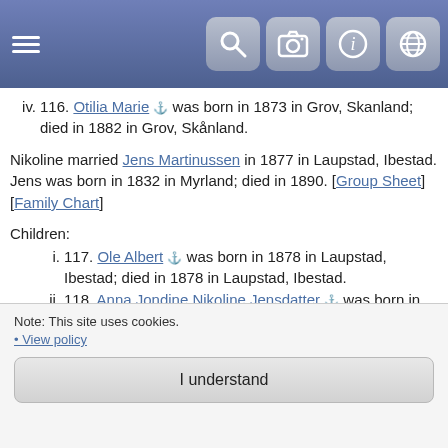Navigation header with hamburger menu and icon buttons (search, camera, info, globe)
iv. 116. Otilia Marie ⚓ was born in 1873 in Grov, Skanland; died in 1882 in Grov, Skånland.
Nikoline married Jens Martinussen in 1877 in Laupstad, Ibestad. Jens was born in 1832 in Myrland; died in 1890. [Group Sheet] [Family Chart]
Children:
i. 117. Ole Albert ⚓ was born in 1878 in Laupstad, Ibestad; died in 1878 in Laupstad, Ibestad.
ii. 118. Anna Jondine Nikoline Jensdatter ⚓ was born in 1879 in Laupstad, Ibestad.
iii. 119. Ole Eberg Jenssen ⚓ was born in 1881 in Laupstad, Ibestad.
iv. 120. Alfred Ottelius ⚓ was born in 1884 in Laupstad, Ibestad; died in 1918.
79. Eilev Berteus Strøm ⚓ (48.Ole⁴, 29.Anders³, 15.Israel², 1.Anders¹) was born on 26 Apr 1844 in Djupvik, Skånland, Troms, Norge.; was christened on 27 May 1844 in Ibestad
Note: This site uses cookies. • View policy
I understand